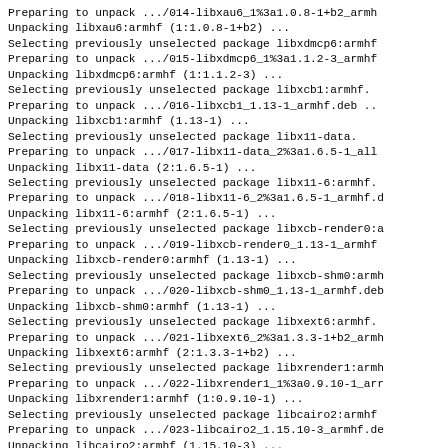Preparing to unpack .../014-libxau6_1%3a1.0.8-1+b2_armh
Unpacking libxau6:armhf (1:1.0.8-1+b2) ...
Selecting previously unselected package libxdmcp6:armhf
Preparing to unpack .../015-libxdmcp6_1%3a1.1.2-3_armhf
Unpacking libxdmcp6:armhf (1:1.1.2-3) ...
Selecting previously unselected package libxcb1:armhf.
Preparing to unpack .../016-libxcb1_1.13-1_armhf.deb ..
Unpacking libxcb1:armhf (1.13-1) ...
Selecting previously unselected package libx11-data.
Preparing to unpack .../017-libx11-data_2%3a1.6.5-1_all
Unpacking libx11-data (2:1.6.5-1) ...
Selecting previously unselected package libx11-6:armhf.
Preparing to unpack .../018-libx11-6_2%3a1.6.5-1_armhf.d
Unpacking libx11-6:armhf (2:1.6.5-1) ...
Selecting previously unselected package libxcb-render0:a
Preparing to unpack .../019-libxcb-render0_1.13-1_armhf
Unpacking libxcb-render0:armhf (1.13-1) ...
Selecting previously unselected package libxcb-shm0:armh
Preparing to unpack .../020-libxcb-shm0_1.13-1_armhf.deb
Unpacking libxcb-shm0:armhf (1.13-1) ...
Selecting previously unselected package libxext6:armhf.
Preparing to unpack .../021-libxext6_2%3a1.3.3-1+b2_armh
Unpacking libxext6:armhf (2:1.3.3-1+b2) ...
Selecting previously unselected package libxrender1:armh
Preparing to unpack .../022-libxrender1_1%3a0.9.10-1_arr
Unpacking libxrender1:armhf (1:0.9.10-1) ...
Selecting previously unselected package libcairo2:armhf
Preparing to unpack .../023-libcairo2_1.15.10-3_armhf.de
Unpacking libcairo2:armhf (1.15.10-3) ...
Selecting previously unselected package libjpeg62-turbo